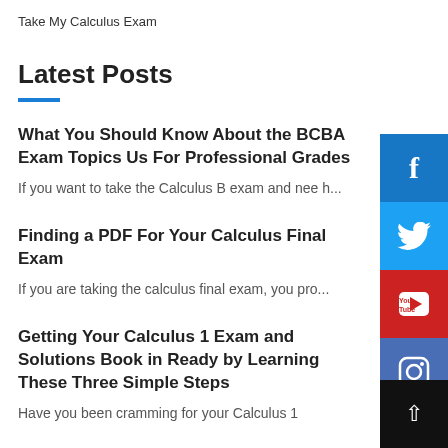Take My Calculus Exam
Latest Posts
What You Should Know About the BCBA Exam Topics Us For Professional Grades
If you want to take the Calculus B exam and nee h...
Finding a PDF For Your Calculus Final Exam
If you are taking the calculus final exam, you pro...
Getting Your Calculus 1 Exam and Solutions Book in Ready by Learning These Three Simple Steps
Have you been cramming for your Calculus 1